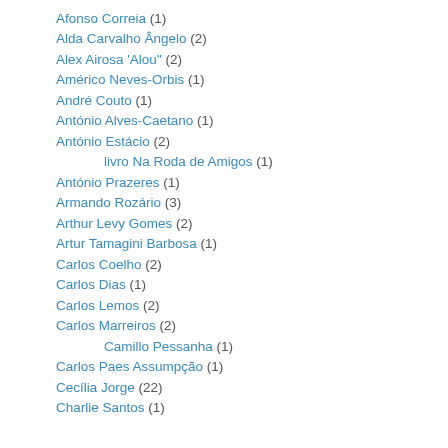Afonso Correia (1)
Alda Carvalho Ângelo (2)
Alex Airosa 'Alou" (2)
Américo Neves-Orbis (1)
André Couto (1)
António Alves-Caetano (1)
António Estácio (2)
livro Na Roda de Amigos (1)
António Prazeres (1)
Armando Rozário (3)
Arthur Levy Gomes (2)
Artur Tamagini Barbosa (1)
Carlos Coelho (2)
Carlos Dias (1)
Carlos Lemos (2)
Carlos Marreiros (2)
Camillo Pessanha (1)
Carlos Paes Assumpção (1)
Cecília Jorge (22)
Charlie Santos (1)